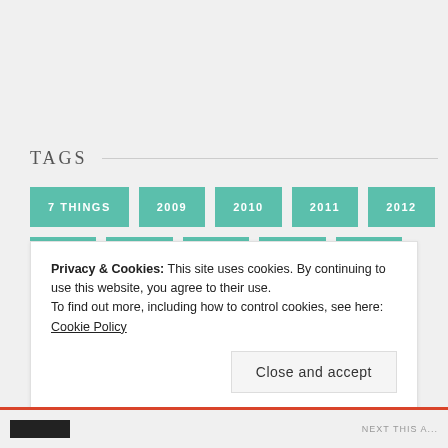TAGS
7 THINGS
2009
2010
2011
2012
2013
2014
2015
2016
2017
2018
2019
2020
2021
ACADEMY AWARDS
ACTION
ADVENTURE
AMAZON VIDEO
Privacy & Cookies: This site uses cookies. By continuing to use this website, you agree to their use.
To find out more, including how to control cookies, see here: Cookie Policy
Close and accept